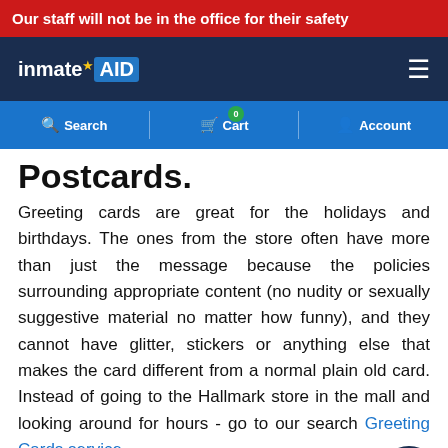Our staff will not be in the office for their safety
[Figure (logo): InmateAID logo with navigation header and blue cart/search/account bar]
Postcards.
Greeting cards are great for the holidays and birthdays. The ones from the store often have more than just the message because the policies surrounding appropriate content (no nudity or sexually suggestive material no matter how funny), and they cannot have glitter, stickers or anything else that makes the card different from a normal plain old card. Instead of going to the Hallmark store in the mall and looking around for hours - go to our search Greeting Cards service.
It takes literally 45 seconds and it's very affordable for